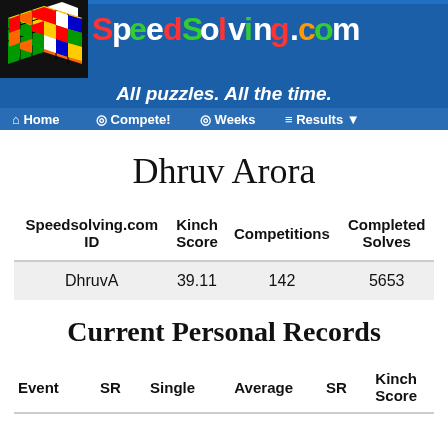[Figure (screenshot): SpeedSolving.com website header with Rubik's cube logo, site name, tagline 'All puzzles. All the time.' and navigation bar with Home, Compete!, Weeks, Results menu items]
Dhruv Arora
| Speedsolving.com ID | Kinch Score | Competitions | Completed Solves |
| --- | --- | --- | --- |
| DhruvA | 39.11 | 142 | 5653 |
Current Personal Records
| Event | SR | Single | Average | SR | Kinch Score |
| --- | --- | --- | --- | --- | --- |